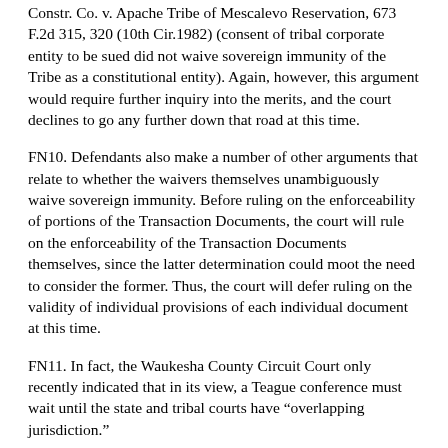Constr. Co. v. Apache Tribe of Mescalevo Reservation, 673 F.2d 315, 320 (10th Cir.1982) (consent of tribal corporate entity to be sued did not waive sovereign immunity of the Tribe as a constitutional entity). Again, however, this argument would require further inquiry into the merits, and the court declines to go any further down that road at this time.
FN10. Defendants also make a number of other arguments that relate to whether the waivers themselves unambiguously waive sovereign immunity. Before ruling on the enforceability of portions of the Transaction Documents, the court will rule on the enforceability of the Transaction Documents themselves, since the latter determination could moot the need to consider the former. Thus, the court will defer ruling on the validity of individual provisions of each individual document at this time.
FN11. In fact, the Waukesha County Circuit Court only recently indicated that in its view, a Teague conference must wait until the state and tribal courts have “overlapping jurisdiction.”